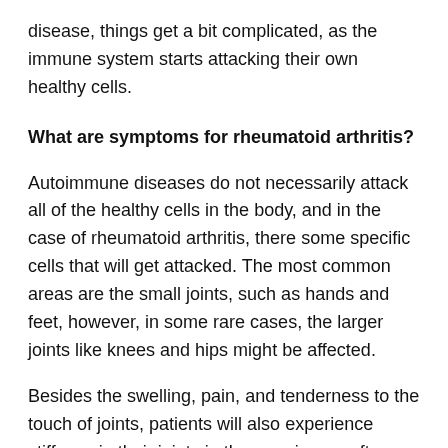disease, things get a bit complicated, as the immune system starts attacking their own healthy cells.
What are symptoms for rheumatoid arthritis?
Autoimmune diseases do not necessarily attack all of the healthy cells in the body, and in the case of rheumatoid arthritis, there some specific cells that will get attacked. The most common areas are the small joints, such as hands and feet, however, in some rare cases, the larger joints like knees and hips might be affected.
Besides the swelling, pain, and tenderness to the touch of joints, patients will also experience stiffness in their joints in the morning, or after they have rested for a couple of hours during the day. Characteristic for rheumatoid arthritis is that the pain in the joints is symmetric, which means that the